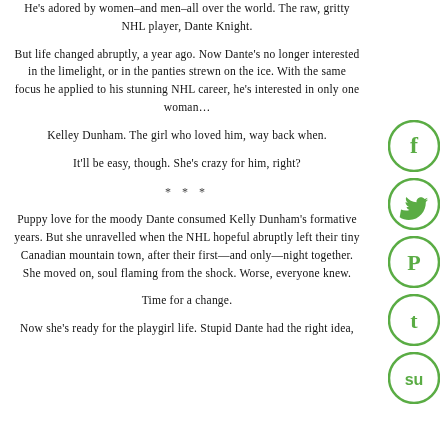He's adored by women–and men–all over the world. The raw, gritty NHL player, Dante Knight.
But life changed abruptly, a year ago. Now Dante's no longer interested in the limelight, or in the panties strewn on the ice. With the same focus he applied to his stunning NHL career, he's interested in only one woman...
Kelley Dunham. The girl who loved him, way back when.
It'll be easy, though. She's crazy for him, right?
***
Puppy love for the moody Dante consumed Kelly Dunham's formative years. But she unravelled when the NHL hopeful abruptly left their tiny Canadian mountain town, after their first—and only—night together. She moved on, soul flaming from the shock. Worse, everyone knew.
Time for a change.
Now she's ready for the playgirl life. Stupid Dante had the right idea,
[Figure (illustration): Green circle social media icons on right side: Facebook (f), Twitter bird, Pinterest (P), Tumblr (t), StumbleUpon (su)]